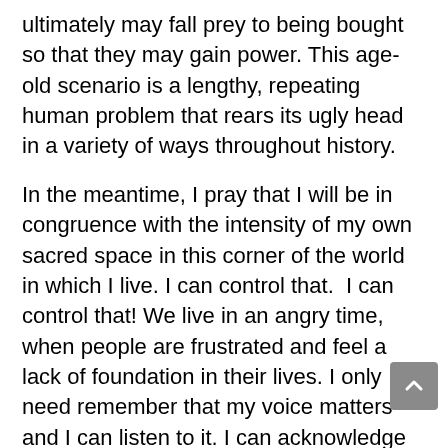ultimately may fall prey to being bought so that they may gain power. This age-old scenario is a lengthy, repeating human problem that rears its ugly head in a variety of ways throughout history.
In the meantime, I pray that I will be in congruence with the intensity of my own sacred space in this corner of the world in which I live. I can control that.  I can control that! We live in an angry time, when people are frustrated and feel a lack of foundation in their lives. I only need remember that my voice matters and I can listen to it. I can acknowledge that it, too, is important. The work is a deeper election, where I choose to remember what is beyond the veil, where I cast my vote for peace into the unknown, knowing the path will enlighten me.